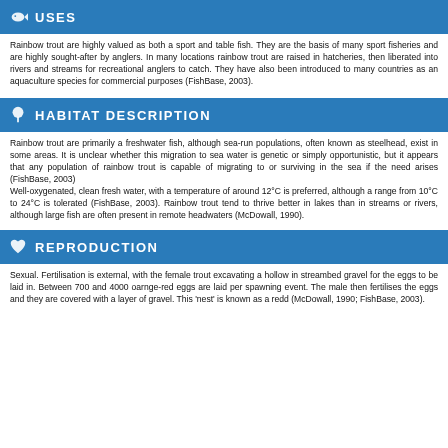USES
Rainbow trout are highly valued as both a sport and table fish. They are the basis of many sport fisheries and are highly sought-after by anglers. In many locations rainbow trout are raised in hatcheries, then liberated into rivers and streams for recreational anglers to catch. They have also been introduced to many countries as an aquaculture species for commercial purposes (FishBase, 2003).
HABITAT DESCRIPTION
Rainbow trout are primarily a freshwater fish, although sea-run populations, often known as steelhead, exist in some areas. It is unclear whether this migration to sea water is genetic or simply opportunistic, but it appears that any population of rainbow trout is capable of migrating to or surviving in the sea if the need arises (FishBase, 2003)
Well-oxygenated, clean fresh water, with a temperature of around 12°C is preferred, although a range from 10°C to 24°C is tolerated (FishBase, 2003). Rainbow trout tend to thrive better in lakes than in streams or rivers, although large fish are often present in remote headwaters (McDowall, 1990).
REPRODUCTION
Sexual. Fertilisation is external, with the female trout excavating a hollow in streambed gravel for the eggs to be laid in. Between 700 and 4000 oarnge-red eggs are laid per spawning event. The male then fertilises the eggs and they are covered with a layer of gravel. This 'nest' is known as a redd (McDowall, 1990; FishBase, 2003).